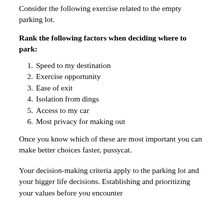Consider the following exercise related to the empty parking lot.
Rank the following factors when deciding where to park:
Speed to my destination
Exercise opportunity
Ease of exit
Isolation from dings
Access to my car
Most privacy for making out
Once you know which of these are most important you can make better choices faster, pussycat.
Your decision-making criteria apply to the parking lot and your bigger life decisions. Establishing and prioritizing your values before you encounter